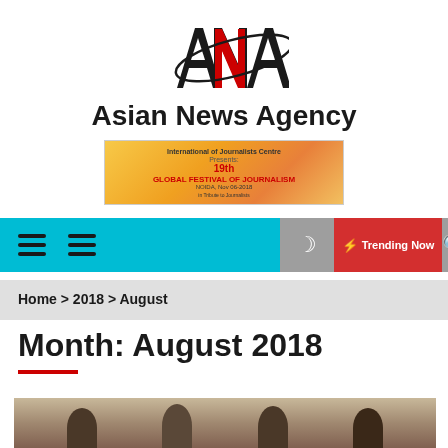[Figure (logo): Asian News Agency logo with stylized ANA letters in black and red, with a globe/orbit graphic element]
Asian News Agency
[Figure (infographic): Advertisement banner for 19th Global Festival of Journalism with yellow/gold background and text]
[Figure (screenshot): Website navigation bar with hamburger menu icons on cyan background, dark mode icon, red Trending Now button with lightning bolt, and search icon]
Home > 2018 > August
Month: August 2018
[Figure (photo): Group photo of several men in an office or meeting room setting, partially visible at the bottom of the page]